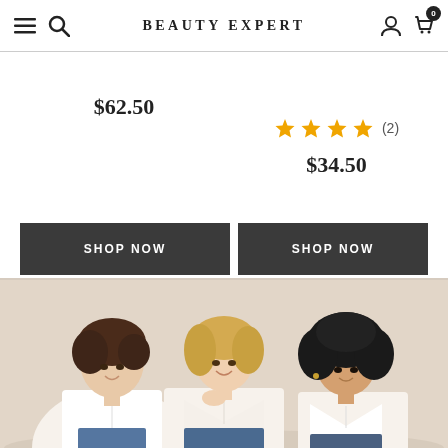BEAUTY EXPERT
$62.50
★★★★ (2)
$34.50
SHOP NOW
SHOP NOW
[Figure (photo): Three women wearing white tank tops seated together, smiling, against a light beige background]